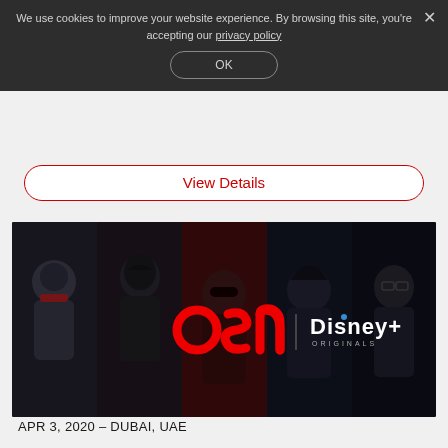We use cookies to improve your website experience. By browsing this site, you're accepting our privacy policy
OK
View Details
[Figure (illustration): OSN and Disney+ Originals logo banner with animated characters in dark background]
APR 3, 2020 – DUBAI, UAE